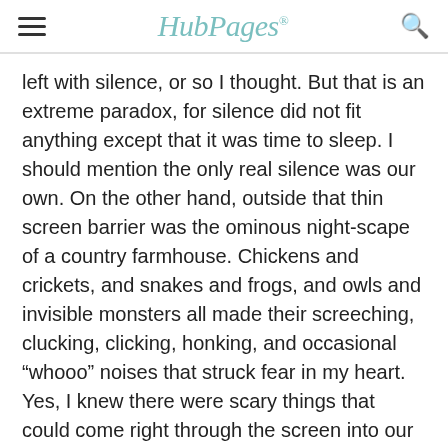HubPages
left with silence, or so I thought. But that is an extreme paradox, for silence did not fit anything except that it was time to sleep. I should mention the only real silence was our own. On the other hand, outside that thin screen barrier was the ominous night-scape of a country farmhouse. Chickens and crickets, and snakes and frogs, and owls and invisible monsters all made their screeching, clucking, clicking, honking, and occasional “whooo” noises that struck fear in my heart. Yes, I knew there were scary things that could come right through the screen into our room and into our bed and devour us; besides the devil even!..
As my brother drifted off to sleep, I was caught in a wakeful nightmare filled with childhood fears, and mounting distress. Then I realized I was now alone; since my brother was somewhere else in my opinion with his snores. I laid fearfully in pent up anxiety that I had never felt before. Where was the safety of bedroom walls, and night lights and